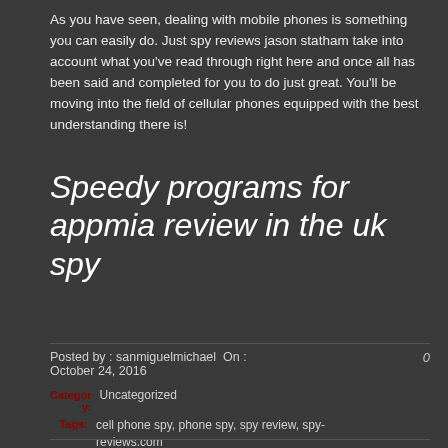As you have seen, dealing with mobile phones is something you can easily do. Just spy reviews jason statham take into account what you've read through right here and once all has been said and completed for you to do just great. You'll be moving into the field of cellular phones equipped with the best understanding there is!
Speedy programs for appmia review in the uk spy
Posted by : sanmiguelmichael  On :  October 24, 2016   0
Category: Uncategorized  Tags: cell phone spy, phone spy, spy review, spy-reviews.com